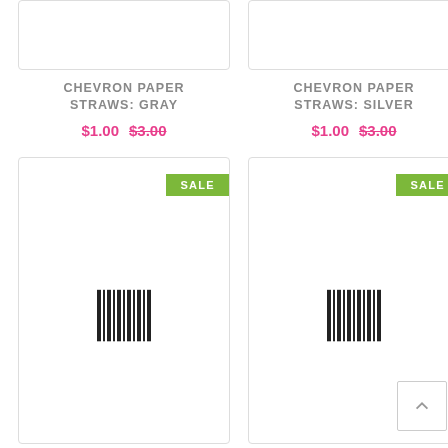[Figure (photo): Product card top portion - Chevron Paper Straws Gray (partially visible at top)]
[Figure (photo): Product card top portion - Chevron Paper Straws Silver (partially visible at top)]
CHEVRON PAPER STRAWS: GRAY
$1.00  $3.00
CHEVRON PAPER STRAWS: SILVER
$1.00  $3.00
[Figure (photo): Product card with SALE badge and barcode placeholder for Chevron Paper Straws]
[Figure (photo): Product card with SALE badge and barcode placeholder for Chevron Paper Straws, with scroll-to-top button]